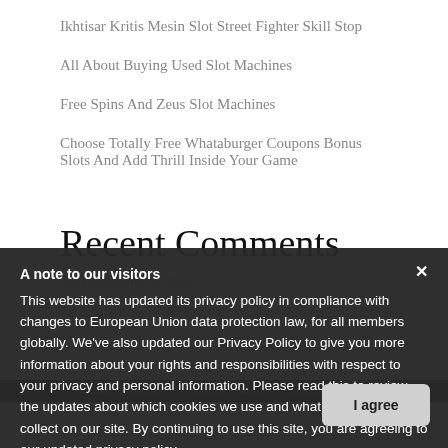Ikhtisar Kritis Mesin Slot Street Fighter Skill Stop
All About Buying Used Slot Machines
Free Spins And Zeus Slot Machines
Choose Totally Free Whataburger Coupons Bonus Slots And Add Thrill Inside Your Game
Recent Comments
No comments to show.
HOME | DMCA | PRIVACY POLICY | TERMS OF USE
Theme: Designed by InkHive.com. © 2022 Timo Boscon Sulianty. All Rights Reserved.
A note to our visitors
This website has updated its privacy policy in compliance with changes to European Union data protection law, for all members globally. We've also updated our Privacy Policy to give you more information about your rights and responsibilities with respect to your privacy and personal information. Please read this to review the updates about which cookies we use and what information we collect on our site. By continuing to use this site, you are agreeing to our updated privacy policy.